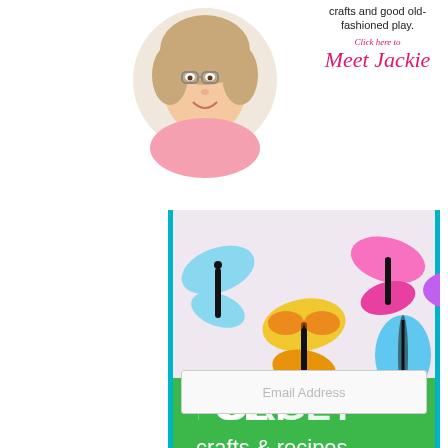[Figure (photo): Circular cropped photo of a smiling woman with glasses and a pink scarf]
crafts and good old-fashioned play.
Click here to
Meet Jackie
[Figure (photo): Colorful butterfly-shaped cookies on a gingham background with a green banner overlay showing 'FORGET crafts & recipes' logo]
Email Address